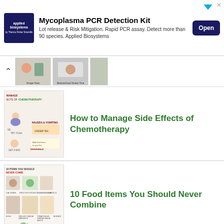[Figure (screenshot): Advertisement banner for Applied Biosystems Mycoplasma PCR Detection Kit with logo, headline, body copy and Open button]
[Figure (screenshot): Thumbnail strip showing scrollable article preview images including Hunger Hues and Reduce/Avoid Screen Time]
[Figure (illustration): Thumbnail infographic about managing side effects of chemotherapy]
How to Manage Side Effects of Chemotherapy
[Figure (infographic): Thumbnail infographic about 10 food items you should never combine]
10 Food Items You Should Never Combine
[Figure (illustration): Thumbnail image about 10 Children's Health]
10 Children's Health